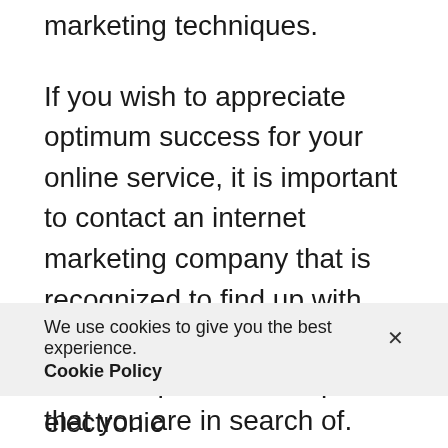marketing techniques.
If you wish to appreciate optimum success for your online service, it is important to contact an internet marketing company that is recognized to find up with proficient techniques to guarantee the sort of results that you are in search of.
Businesses throughout the globe are understanding the value of digital marketing.
We use cookies to give you the best experience. Cookie Policy
which require internet-paired electronic